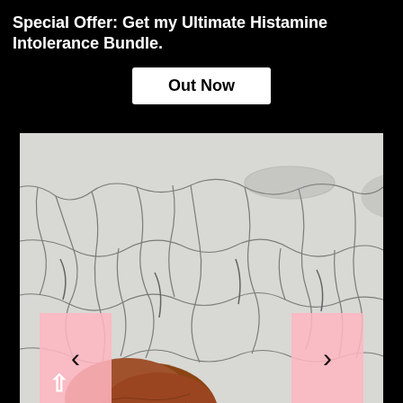Special Offer: Get my Ultimate Histamine Intolerance Bundle.
[Figure (screenshot): Button labeled 'Out Now' with white background and bold text]
[Figure (photo): Close-up photo of cracked, pale skin texture with a person's head partially visible at bottom. Navigation arrows on left and right sides with pink background panels.]